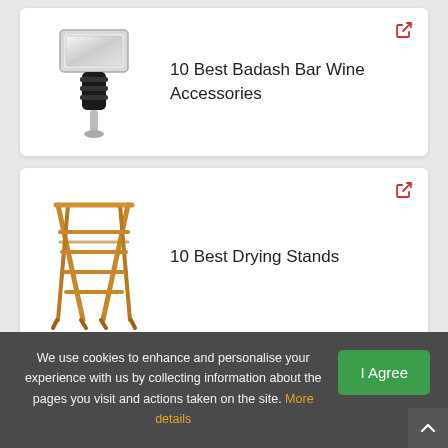[Figure (photo): Wine bottle stopper accessory — silver/chrome square top with black rubber grip and metal stem]
10 Best Badash Bar Wine Accessories
[Figure (photo): Wooden folding drying rack / laundry stand with multiple horizontal bars]
10 Best Drying Stands
10 Best Whis[key D…] (partially visible)
We use cookies to enhance and personalise your experience with us by collecting information about the pages you visit and actions taken on the site. More details